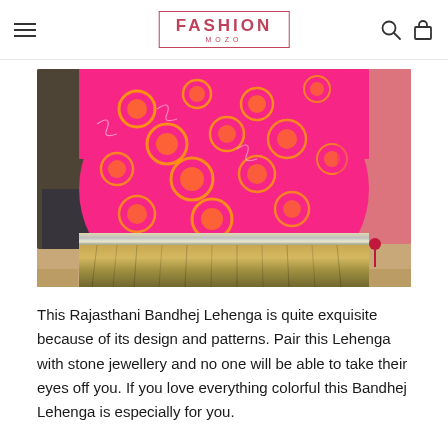FASHION MOZO
[Figure (photo): A model wearing a vibrant pink Rajasthani Bandhej Lehenga with orange circular patterns, a silver/gold metallic border band, and a gold sequined ruffle hem on a runway.]
This Rajasthani Bandhej Lehenga is quite exquisite because of its design and patterns. Pair this Lehenga with stone jewellery and no one will be able to take their eyes off you. If you love everything colorful this Bandhej Lehenga is especially for you.